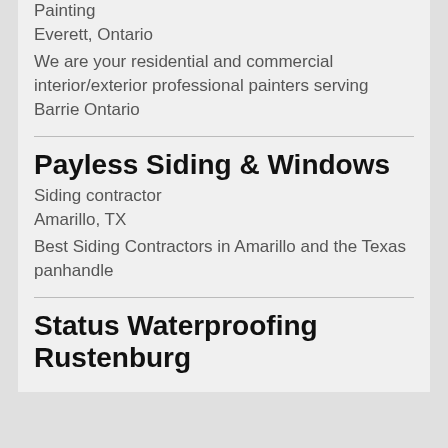Painting
Everett, Ontario
We are your residential and commercial interior/exterior professional painters serving Barrie Ontario
Payless Siding & Windows
Siding contractor
Amarillo, TX
Best Siding Contractors in Amarillo and the Texas panhandle
Status Waterproofing Rustenburg